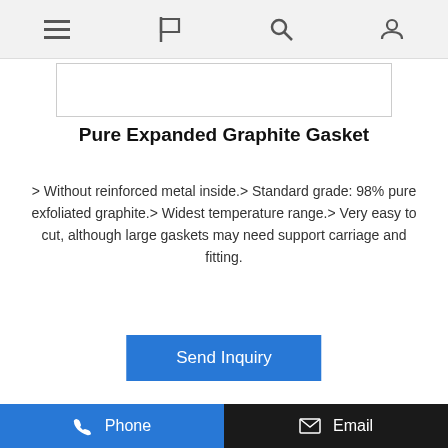Navigation bar with menu, flag, search, and user account icons
[Figure (photo): Product image placeholder (white box with border) for Pure Expanded Graphite Gasket]
Pure Expanded Graphite Gasket
> Without reinforced metal inside.> Standard grade: 98% pure exfoliated graphite.> Widest temperature range.> Very easy to cut, although large gaskets may need support carriage and fitting.
Send Inquiry
Pre 1 2 3 4 5 6 7 Next
CONTACT US
INQUIRY FOR PRICELIST
Phone   Email